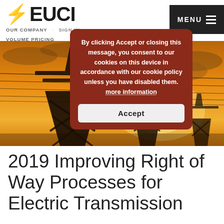EUCI — OUR COMPANY | VOLUME PRICING | MENU
By clicking Accept or closing this message, you consent to our cookies on this device in accordance with our cookie policy unless you have disabled them. more information
Accept
[Figure (photo): Electrical transmission towers silhouetted against an orange sunset sky with power lines stretching across the frame.]
2019 Improving Right of Way Processes for Electric Transmission